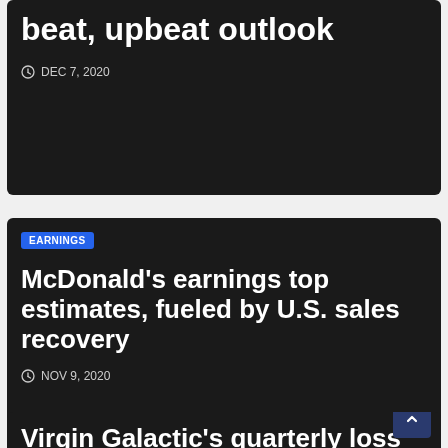beat, upbeat outlook
DEC 7, 2020
EARNINGS
McDonald's earnings top estimates, fueled by U.S. sales recovery
NOV 9, 2020
Virgin Galactic's quarterly loss increases, plans next spaceflight test for late